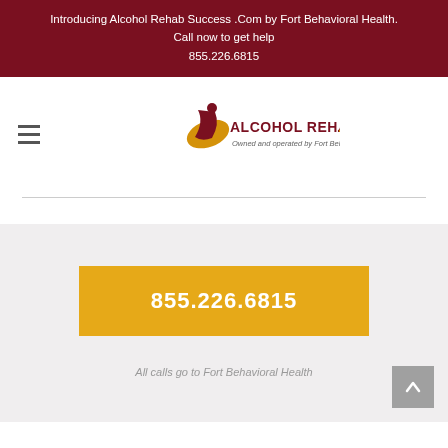Introducing Alcohol Rehab Success .Com by Fort Behavioral Health.
Call now to get help
855.226.6815
[Figure (logo): Alcohol Rehab Success .com logo with figure icon and tagline 'Owned and operated by Fort Behavioral Health.']
855.226.6815
All calls go to Fort Behavioral Health